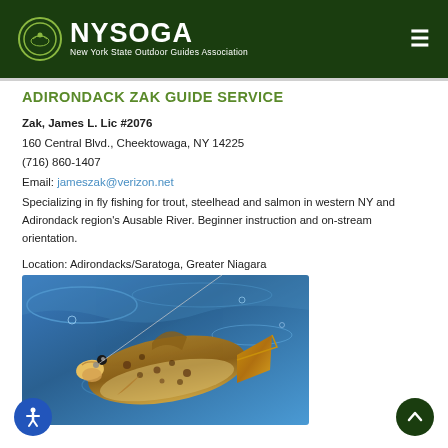NYSOGA — New York State Outdoor Guides Association
ADIRONDACK ZAK GUIDE SERVICE
Zak, James L. Lic #2076
160 Central Blvd., Cheektowaga, NY 14225
(716) 860-1407
Email: jameszak@verizon.net
Specializing in fly fishing for trout, steelhead and salmon in western NY and Adirondack region's Ausable River. Beginner instruction and on-stream orientation.
Location: Adirondacks/Saratoga, Greater Niagara
[Figure (photo): Close-up photo of a brown trout being caught on a fishing line, showing the fish's spotted body and golden fins against rippling blue-green water.]